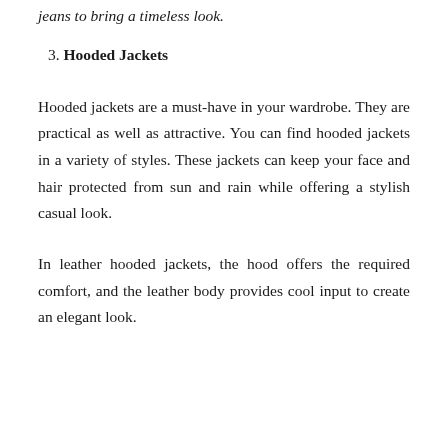jeans to bring a timeless look.
3. Hooded Jackets
Hooded jackets are a must-have in your wardrobe. They are practical as well as attractive. You can find hooded jackets in a variety of styles. These jackets can keep your face and hair protected from sun and rain while offering a stylish casual look.
In leather hooded jackets, the hood offers the required comfort, and the leather body provides cool input to create an elegant look.